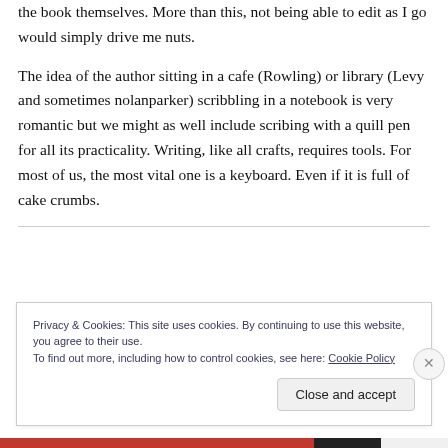the book themselves. More than this, not being able to edit as I go would simply drive me nuts.
The idea of the author sitting in a cafe (Rowling) or library (Levy and sometimes nolanparker) scribbling in a notebook is very romantic but we might as well include scribing with a quill pen for all its practicality. Writing, like all crafts, requires tools. For most of us, the most vital one is a keyboard. Even if it is full of cake crumbs.
Privacy & Cookies: This site uses cookies. By continuing to use this website, you agree to their use. To find out more, including how to control cookies, see here: Cookie Policy